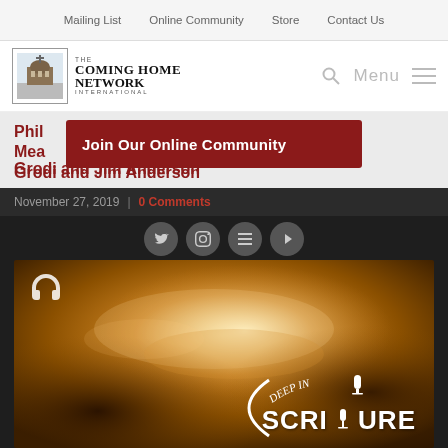Mailing List | Online Community | Store | Contact Us
[Figure (logo): The Coming Home Network International logo with building/church illustration and text]
Menu
Philip... Meaning... Grodi and Jim Anderson
[Figure (infographic): Red banner overlay reading: Join Our Online Community]
November 27, 2019 | 0 Comments
[Figure (photo): Deep in Scripture podcast episode thumbnail with golden/amber nebula background, headphone icon, and Deep in Scripture logo in white text]